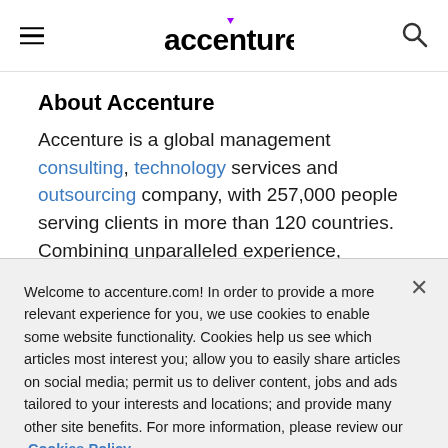accenture
About Accenture
Accenture is a global management consulting, technology services and outsourcing company, with 257,000 people serving clients in more than 120 countries. Combining unparalleled experience,
Welcome to accenture.com! In order to provide a more relevant experience for you, we use cookies to enable some website functionality. Cookies help us see which articles most interest you; allow you to easily share articles on social media; permit us to deliver content, jobs and ads tailored to your interests and locations; and provide many other site benefits. For more information, please review our Cookies Policy and Privacy Statement.
Cookie Settings